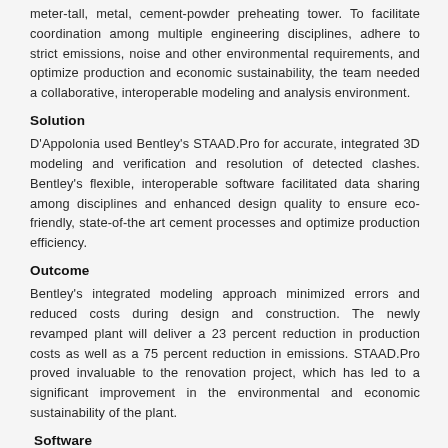meter-tall, metal, cement-powder preheating tower. To facilitate coordination among multiple engineering disciplines, adhere to strict emissions, noise and other environmental requirements, and optimize production and economic sustainability, the team needed a collaborative, interoperable modeling and analysis environment.
Solution
D'Appolonia used Bentley's STAAD.Pro for accurate, integrated 3D modeling and verification and resolution of detected clashes. Bentley's flexible, interoperable software facilitated data sharing among disciplines and enhanced design quality to ensure eco-friendly, state-of-the art cement processes and optimize production efficiency.
Outcome
Bentley's integrated modeling approach minimized errors and reduced costs during design and construction. The newly revamped plant will deliver a 23 percent reduction in production costs as well as a 75 percent reduction in emissions. STAAD.Pro proved invaluable to the renovation project, which has led to a significant improvement in the environmental and economic sustainability of the plant.
Software
D'Appolonia used Bentley STAAD.Pro to design the 107-meter-tall preheating tower for the renovation of the historic Rezzato Cement Plant. Bentley's integrated modeling and analysis software enhanced